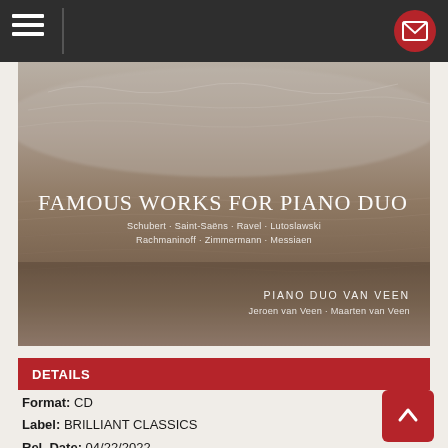[Figure (photo): Album cover for 'Famous Works for Piano Duo' by Piano Duo Van Veen on Brilliant Classics. Background shows a sandy beach with water ripples. Text overlay shows album title, composers (Schubert, Saint-Saëns, Ravel, Lutoslawski, Rachmaninoff, Zimmermann, Messiaen), and performers (Piano Duo Van Veen, Jeroen van Veen, Maarten van Veen).]
DETAILS
Format: CD
Label: BRILLIANT CLASSICS
Rel. Date: 04/22/2022
UPC: 5028421964331